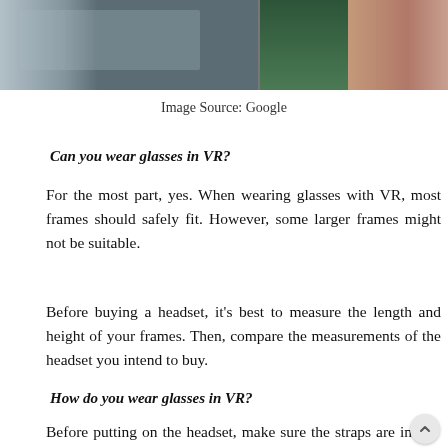[Figure (photo): Cropped photo strip showing people, partially visible, with one person in a green top in the center and others on either side.]
Image Source: Google
Can you wear glasses in VR?
For the most part, yes. When wearing glasses with VR, most frames should safely fit. However, some larger frames might not be suitable.
Before buying a headset, it’s best to measure the length and height of your frames. Then, compare the measurements of the headset you intend to buy.
How do you wear glasses in VR?
Before putting on the headset, make sure the straps are in the loosest setting. Then, slowly pull the straps to tighten around your head and glasses.